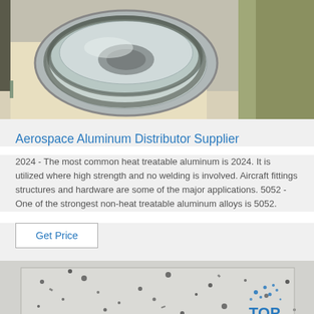[Figure (photo): Photo of aluminum coil/reel wrapped in plastic, sitting on a surface, viewed from above and slightly angled]
Aerospace Aluminum Distributor Supplier
2024 - The most common heat treatable aluminum is 2024. It is utilized where high strength and no welding is involved. Aircraft fittings structures and hardware are some of the major applications. 5052 - One of the strongest non-heat treatable aluminum alloys is 5052.
Get Price
[Figure (photo): Photo of granite or speckled stone surface tile with a blue TOP logo watermark in the bottom right corner]